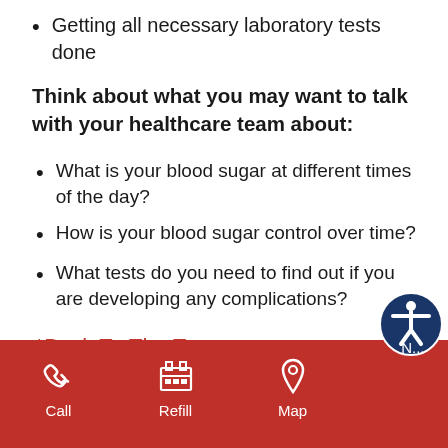Getting all necessary laboratory tests done
Think about what you may want to talk with your healthcare team about:
What is your blood sugar at different times of the day?
How is your blood sugar control over time?
What tests do you need to find out if you are developing any complications?
*Back To The Top
[Figure (infographic): Red footer bar with white icons and labels for Call, Refill, Map, and an accessibility icon button]